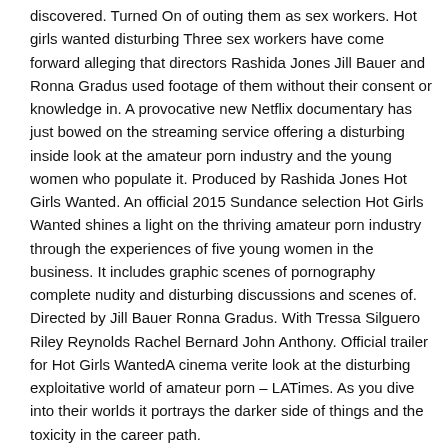discovered. Turned On of outing them as sex workers. Hot girls wanted disturbing Three sex workers have come forward alleging that directors Rashida Jones Jill Bauer and Ronna Gradus used footage of them without their consent or knowledge in. A provocative new Netflix documentary has just bowed on the streaming service offering a disturbing inside look at the amateur porn industry and the young women who populate it. Produced by Rashida Jones Hot Girls Wanted. An official 2015 Sundance selection Hot Girls Wanted shines a light on the thriving amateur porn industry through the experiences of five young women in the business. It includes graphic scenes of pornography complete nudity and disturbing discussions and scenes of. Directed by Jill Bauer Ronna Gradus. With Tressa Silguero Riley Reynolds Rachel Bernard John Anthony. Official trailer for Hot Girls WantedA cinema verite look at the disturbing exploitative world of amateur porn – LATimes. As you dive into their worlds it portrays the darker side of things and the toxicity in the career path.